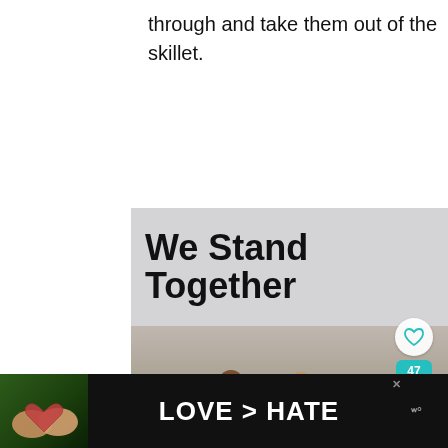through and take them out of the skillet.
[Figure (illustration): Advertisement showing a group of diverse people standing together with arms around each other, backs to camera, with bold text 'We Stand Together' overlaid on the top of the image. A close button (X) appears in the top right corner of the ad.]
[Figure (infographic): Side panel showing a heart/like icon, a count of 47, and a share icon in teal/cyan color.]
[Figure (screenshot): What's Next panel showing a thumbnail image of brisket and text 'What's Next → How to Reheat Brisket in 4...']
[Figure (illustration): Bottom banner advertisement with dark background showing hands forming a heart shape and bold white text reading 'LOVE > HATE'. A close (X) button and a logo/wordmark appear on the right.]